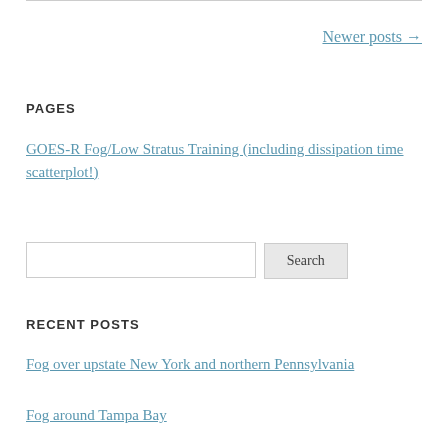Newer posts →
PAGES
GOES-R Fog/Low Stratus Training (including dissipation time scatterplot!)
RECENT POSTS
Fog over upstate New York and northern Pennsylvania
Fog around Tampa Bay